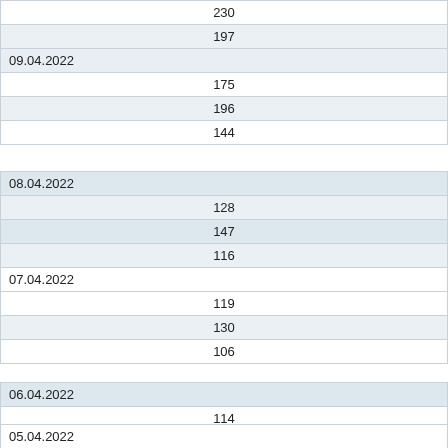| 230 |
| 197 |
| 09.04.2022 |
| 175 |
| 196 |
| 144 |
| 08.04.2022 |
| 128 |
| 147 |
| 116 |
| 07.04.2022 |
| 119 |
| 130 |
| 106 |
| 06.04.2022 |
| 114 |
| 125 |
| 105 |
05.04.2022